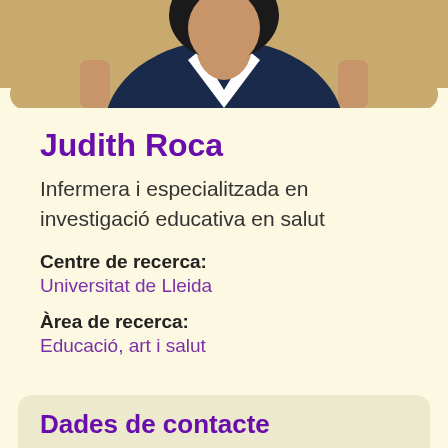[Figure (photo): Profile photo of Judith Roca, showing upper body with dark navy top and light background, cropped at top]
Judith Roca
Infermera i especialitzada en investigació educativa en salut
Centre de recerca: Universitat de Lleida
Àrea de recerca: Educació, art i salut
Dades de contacte